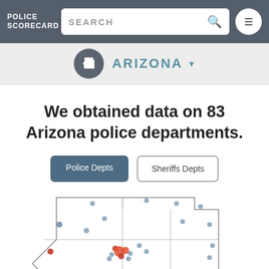POLICE SCORECARD
We obtained data on 83 Arizona police departments.
Police Depts
Sheriffs Depts
[Figure (map): Map of Arizona showing locations of 83 police departments as dots, with blue/grey dots for most departments and red/orange dots indicating higher concern areas, primarily clustered in central and southern Arizona (Phoenix and Tucson metro areas).]